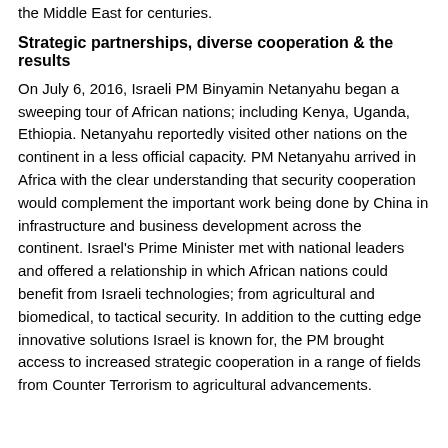the Middle East for centuries.
Strategic partnerships, diverse cooperation & the results
On July 6, 2016, Israeli PM Binyamin Netanyahu began a sweeping tour of African nations; including Kenya, Uganda, Ethiopia. Netanyahu reportedly visited other nations on the continent in a less official capacity. PM Netanyahu arrived in Africa with the clear understanding that security cooperation would complement the important work being done by China in infrastructure and business development across the continent. Israel's Prime Minister met with national leaders and offered a relationship in which African nations could benefit from Israeli technologies; from agricultural and biomedical, to tactical security. In addition to the cutting edge innovative solutions Israel is known for, the PM brought access to increased strategic cooperation in a range of fields from Counter Terrorism to agricultural advancements.